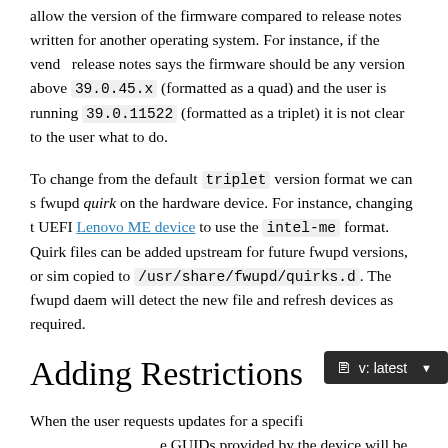allow the version of the firmware compared to release notes written for another operating system. For instance, if the vendor release notes says the firmware should be any version above 39.0.45.x (formatted as a quad) and the user is running 39.0.11522 (formatted as a triplet) it is not clear to the user what to do.
To change from the default triplet version format we can set a fwupd quirk on the hardware device. For instance, changing the UEFI Lenovo ME device to use the intel-me format. Quirk files can be added upstream for future fwupd versions, or simply copied to /usr/share/fwupd/quirks.d. The fwupd daemon will detect the new file and refresh devices as required.
Adding Restrictions
When the user requests updates for a specific device, the GUIDs provided by the device will be match against any of the GUIDs in the metadata. To limit these matches using a variety